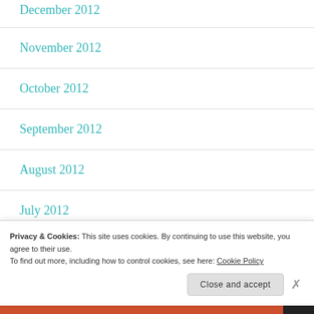December 2012
November 2012
October 2012
September 2012
August 2012
July 2012
June 2012
Privacy & Cookies: This site uses cookies. By continuing to use this website, you agree to their use.
To find out more, including how to control cookies, see here: Cookie Policy
Close and accept